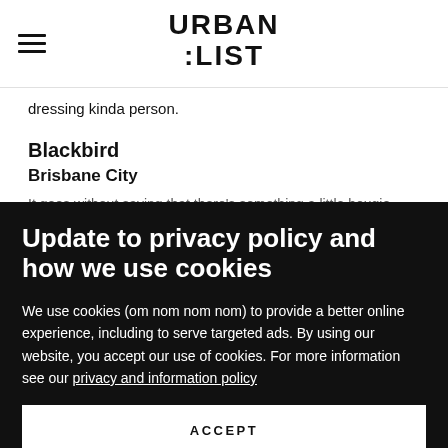URBAN LIST
dressing kinda person.
Blackbird
Brisbane City
It goes without saying that there's something a little bougie...
Update to privacy policy and how we use cookies
We use cookies (om nom nom nom) to provide a better online experience, including to serve targeted ads. By using our website, you accept our use of cookies. For more information see our privacy and information policy
ACCEPT